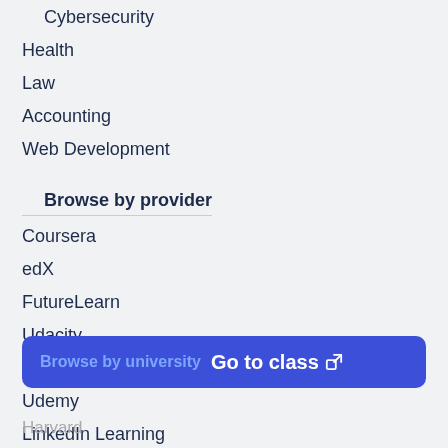Cybersecurity
Health
Law
Accounting
Web Development
Browse by provider
Coursera
edX
FutureLearn
Udacity
Swayam
Udemy
LinkedIn Learning
Browse by university  Go to class
Harvard